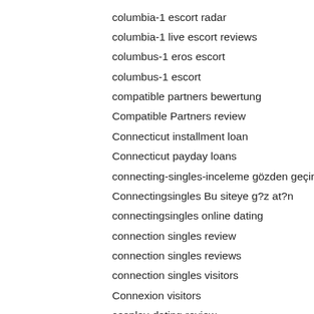columbia-1 escort radar
columbia-1 live escort reviews
columbus-1 eros escort
columbus-1 escort
compatible partners bewertung
Compatible Partners review
Connecticut installment loan
Connecticut payday loans
connecting-singles-inceleme gözden geçirmek
Connectingsingles Bu siteye g?z at?n
connectingsingles online dating
connection singles review
connection singles reviews
connection singles visitors
Connexion visitors
cosplay-dating review
Cougar Dating app
cougar life dating